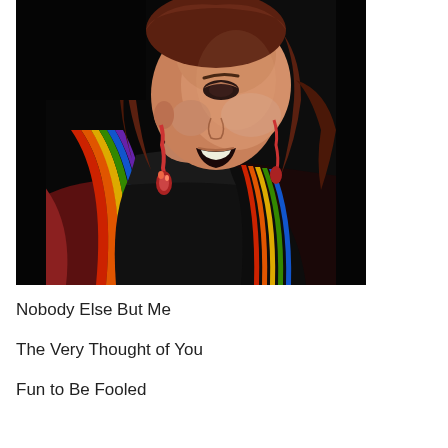[Figure (photo): A woman with red/auburn hair, wearing dangling earrings, a black turtleneck top and a colorful (rainbow-striped) jacket, performing on stage against a dark background. She appears to be singing with her mouth open.]
Nobody Else But Me
The Very Thought of You
Fun to Be Fooled